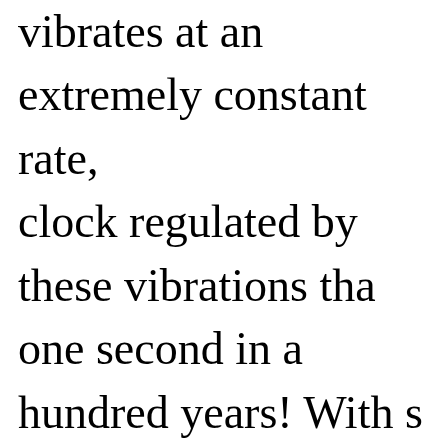vibrates at an extremely constant rate, clock regulated by these vibrations tha one second in a hundred years! With s are now measuring the rotation of the soon we will know if it is actually slov think.

The gas maser has also been used to c of relativity concerning the velocity o had been hampered by the lack of a ti